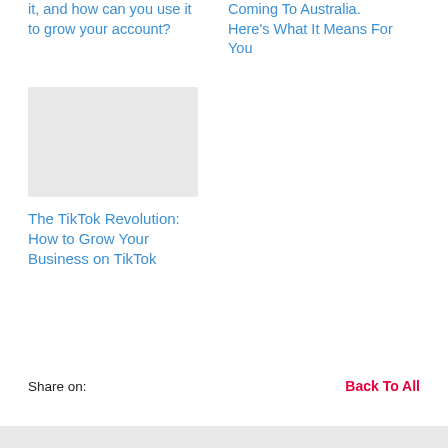it, and how can you use it to grow your account?
Coming To Australia. Here's What It Means For You
[Figure (photo): Placeholder image for TikTok Revolution article]
The TikTok Revolution: How to Grow Your Business on TikTok
Share on:
Back To All